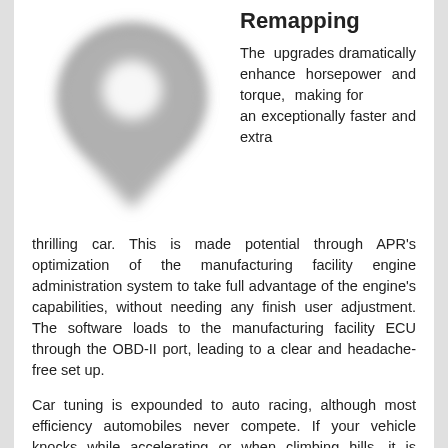Remapping
[Figure (illustration): A blurred gray map pin / location marker icon]
The upgrades dramatically enhance horsepower and torque, making for an exceptionally faster and extra thrilling car. This is made potential through APR's optimization of the manufacturing facility engine administration system to take full advantage of the engine's capabilities, without needing any finish user adjustment. The software loads to the manufacturing facility ECU through the OBD-II port, leading to a clear and headache-free set up.
Car tuning is expounded to auto racing, although most efficiency automobiles never compete. If your vehicle knocks while accelerating or when climbing hills, it is typically a sign of some engine inefficiency. Also, if the car